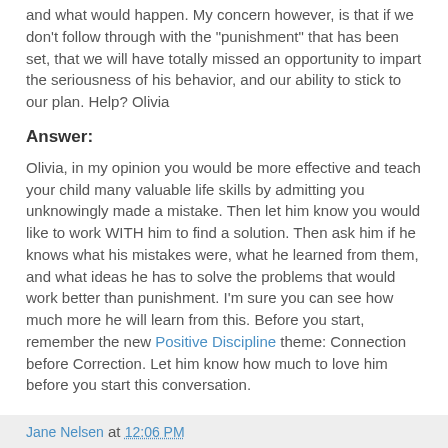and what would happen. My concern however, is that if we don't follow through with the "punishment" that has been set, that we will have totally missed an opportunity to impart the seriousness of his behavior, and our ability to stick to our plan. Help? Olivia
Answer:
Olivia, in my opinion you would be more effective and teach your child many valuable life skills by admitting you unknowingly made a mistake. Then let him know you would like to work WITH him to find a solution. Then ask him if he knows what his mistakes were, what he learned from them, and what ideas he has to solve the problems that would work better than punishment. I'm sure you can see how much more he will learn from this. Before you start, remember the new Positive Discipline theme: Connection before Correction. Let him know how much to love him before you start this conversation.
Jane Nelsen at 12:06 PM